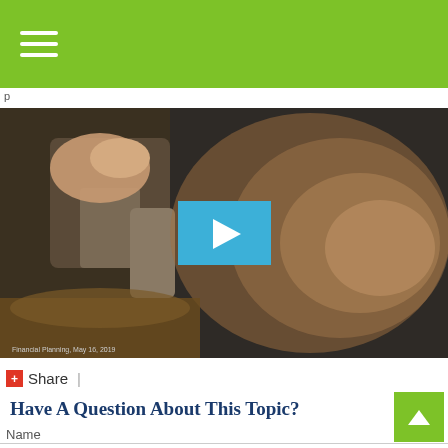Navigation menu (hamburger icon)
p
[Figure (photo): Video thumbnail showing a woodturning scene with a person using a tool on a spinning piece of wood on a lathe, with sawdust visible. A blue play button overlay is centered on the image. Caption reads: Financial Planning, May 16, 2019]
+ Share |
Have A Question About This Topic?
Name